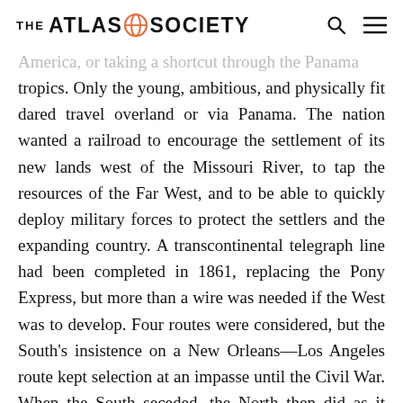THE ATLAS SOCIETY
America, or taking a shortcut through the Panama tropics. Only the young, ambitious, and physically fit dared travel overland or via Panama. The nation wanted a railroad to encourage the settlement of its new lands west of the Missouri River, to tap the resources of the Far West, and to be able to quickly deploy military forces to protect the settlers and the expanding country. A transcontinental telegraph line had been completed in 1861, replacing the Pony Express, but more than a wire was needed if the West was to develop. Four routes were considered, but the South's insistence on a New Orleans—Los Angeles route kept selection at an impasse until the Civil War. When the South seceded, the North then did as it wished. According to Ambrose, construction of a railroad to the Pacific was arguably Lincoln's second